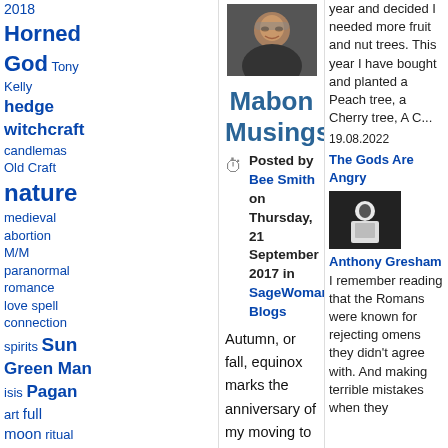2018 Horned God Tony Kelly hedge witchcraft candlemas Old Craft nature medieval abortion M/M paranormal romance love spell connection spirits Sun Green Man isis Pagan art full moon ritual agriculture Yule tree Paganistan vikings Thanksgiving Womans Belly Book new moon pop culture magic prodea offering ancient history
[Figure (photo): Profile photo of a woman with glasses, short hair, smiling]
Mabon Musings
Posted by Bee Smith on Thursday, 21 September 2017 in SageWoman Blogs
Autumn, or fall, equinox marks the anniversary of my moving to Ireland sixteen years ago. This was my third country move and each Mabon I fall into a contemplative mood regarding my peripatetic life. The first move was at age three months. Reading an article this morning by Mary Condren in Celtic Threads I had a bit of an 'Ah ha!' moment.
Even as a child I felt outside in my homeland. In fact, as an eleven or twelve year old, I penned (with Quink and quill made from a seagull feather), a gnomic little poem called 'The Exile.' I felt suffocated in my native
year and decided I needed more fruit and nut trees. This year I have bought and planted a Peach tree, a Cherry tree, A C... 19.08.2022
The Gods Are Angry
[Figure (photo): Dark thumbnail image showing a silhouette figure]
Anthony Gresham I remember reading that the Romans were known for rejecting omens they didn't agree with. And making terrible mistakes when they